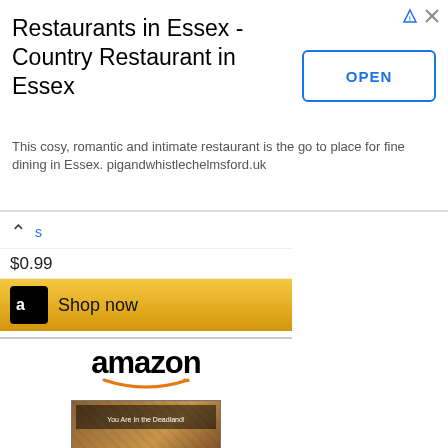[Figure (screenshot): Google ad banner for Restaurants in Essex - Country Restaurant in Essex with OPEN button and small ad icons top right]
Restaurants in Essex - Country Restaurant in Essex
This cosy, romantic and intimate restaurant is the go to place for fine dining in Essex. pigandwhistlechelmsford.uk
$0.99
[Figure (screenshot): Amazon Shop now button with amazon logo for first product]
[Figure (screenshot): Amazon product listing: amazon logo, product image of Zombies!!! 2nd Edition board game box]
Zombies!!! 2nd Edition
$24.95
[Figure (screenshot): Amazon Shop now button]